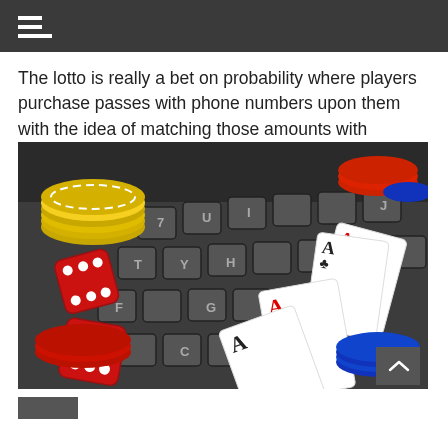The lotto is really a bet on probability where players purchase passes with phone numbers upon them with the idea of matching those amounts with
[Figure (photo): Casino and gambling photo: laptop keyboard covered with poker chips (yellow, red, blue), red dice, and playing cards showing aces, representing online gambling and lottery.]